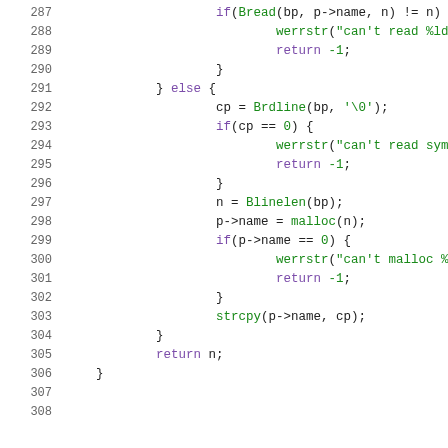[Figure (screenshot): Source code listing in C, lines 287-307, showing code for reading bread/brdline data with error handling using werrstr and malloc, displayed with syntax highlighting (line numbers in gray, keywords in purple, function names and strings in green).]